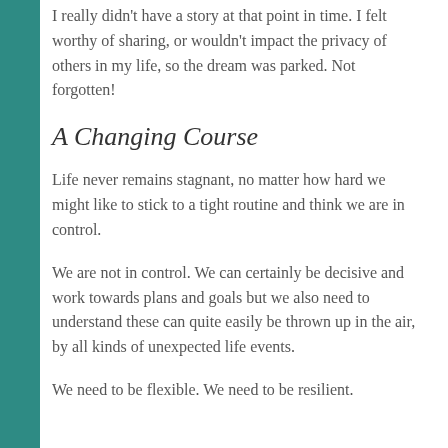I really didn't have a story at that point in time. I felt worthy of sharing, or wouldn't impact the privacy of others in my life, so the dream was parked. Not forgotten!
A Changing Course
Life never remains stagnant, no matter how hard we might like to stick to a tight routine and think we are in control.
We are not in control. We can certainly be decisive and work towards plans and goals but we also need to understand these can quite easily be thrown up in the air, by all kinds of unexpected life events.
We need to be flexible. We need to be resilient.